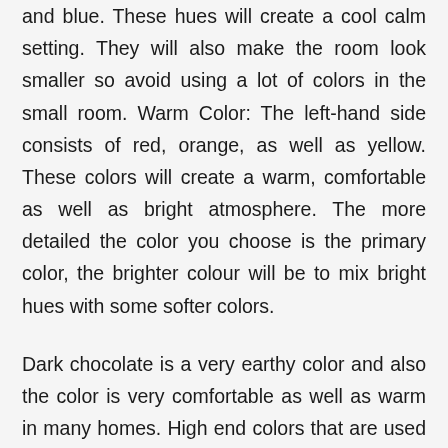and blue. These hues will create a cool calm setting. They will also make the room look smaller so avoid using a lot of colors in the small room. Warm Color: The left-hand side consists of red, orange, as well as yellow. These colors will create a warm, comfortable as well as bright atmosphere. The more detailed the color you choose is the primary color, the brighter colour will be to mix bright hues with some softer colors.
Dark chocolate is a very earthy color and also the color is very comfortable as well as warm in many homes. High end colors that are used while too much chocolate in any room can feel closed as well as gloomy. Gray is a conservative color that can make a room look 'clean' and feel formal to it. This colour should be used very easily